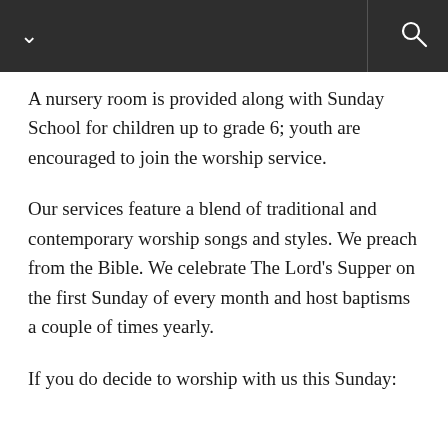A nursery room is provided along with Sunday School for children up to grade 6; youth are encouraged to join the worship service.
Our services feature a blend of traditional and contemporary worship songs and styles. We preach from the Bible. We celebrate The Lord’s Supper on the first Sunday of every month and host baptisms a couple of times yearly.
If you do decide to worship with us this Sunday: